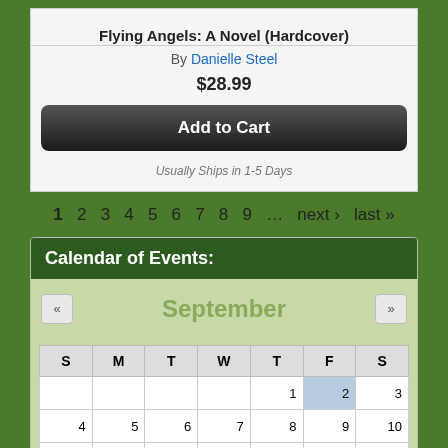Flying Angels: A Novel (Hardcover)
By Danielle Steel
$28.99
Add to Cart
Usually Ships in 1-5 Days
1 2 3 4 5 6 7 8 9 … next › last »
Calendar of Events:
[Figure (other): September calendar grid showing days 1-24 with day-of-week headers S M T W T F S. Day 2 is highlighted in blue. Days 11 and 17 are underlined.]